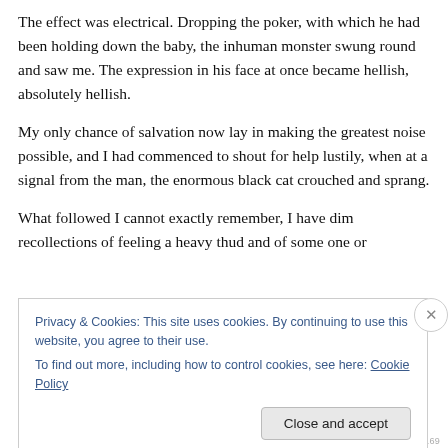The effect was electrical. Dropping the poker, with which he had been holding down the baby, the inhuman monster swung round and saw me. The expression in his face at once became hellish, absolutely hellish.
My only chance of salvation now lay in making the greatest noise possible, and I had commenced to shout for help lustily, when at a signal from the man, the enormous black cat crouched and sprang.
What followed I cannot exactly remember, I have dim recollections of feeling a heavy thud and of some one or
Privacy & Cookies: This site uses cookies. By continuing to use this website, you agree to their use.
To find out more, including how to control cookies, see here: Cookie Policy
Close and accept